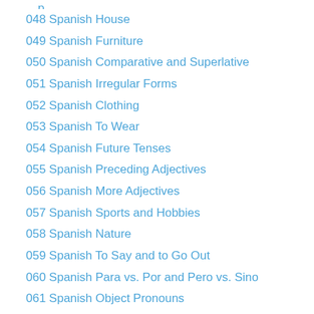048 Spanish House
049 Spanish Furniture
050 Spanish Comparative and Superlative
051 Spanish Irregular Forms
052 Spanish Clothing
053 Spanish To Wear
054 Spanish Future Tenses
055 Spanish Preceding Adjectives
056 Spanish More Adjectives
057 Spanish Sports and Hobbies
058 Spanish Nature
059 Spanish To Say and to Go Out
060 Spanish Para vs. Por and Pero vs. Sino
061 Spanish Object Pronouns
062 Spanish Parts of the Body
063 Spanish Asking Questions
064 Spanish To Give and To Bring
065 Spanish Relative Pronouns
066 Spanish Disjunctive Pronouns
067 Spanish To Use and to Send (partial)